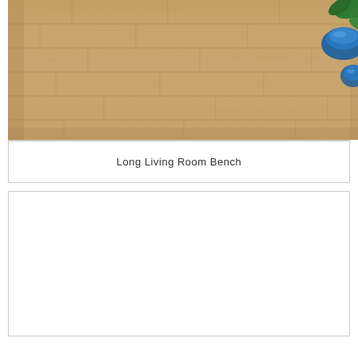[Figure (photo): Photo of a wood laminate floor, warm tan/golden oak color with wood grain lines. In the top-right corner there is a blue decorative bowl and green plant leaves partially visible.]
Long Living Room Bench
[Figure (photo): Empty white rectangle placeholder, second card with no image content visible.]